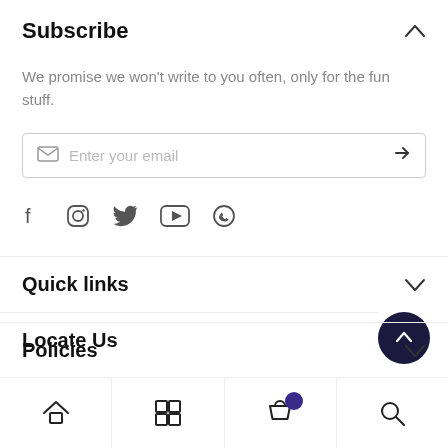Subscribe
We promise we won't write to you often, only for the fun stuff.
Enter your email
[Figure (infographic): Social media icons: Facebook, Instagram, Twitter, YouTube, WhatsApp]
Quick links
Locate Us
Policies
Bottom navigation bar with home, grid, cart, and search icons